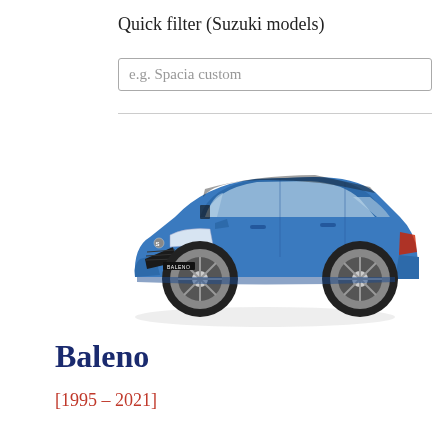Quick filter (Suzuki models)
e.g. Spacia custom
[Figure (photo): Blue Suzuki Baleno hatchback car, front three-quarter view, showing BALENO badge on front bumper]
Baleno
[1995 – 2021]